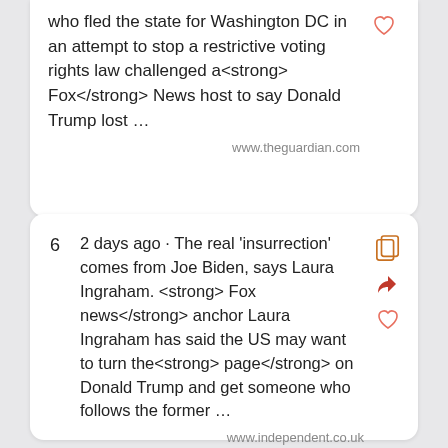who fled the state for Washington DC in an attempt to stop a restrictive voting rights law challenged a<strong> Fox</strong> News host to say Donald Trump lost … www.theguardian.com
6  2 days ago · The real 'insurrection' comes from Joe Biden, says Laura Ingraham. <strong> Fox news</strong> anchor Laura Ingraham has said the US may want to turn the<strong> page</strong> on Donald Trump and get someone who follows the former … www.independent.co.uk